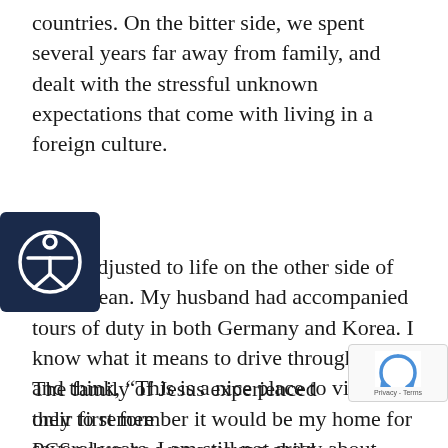countries. On the bitter side, we spent several years far away from family, and dealt with the stressful unknown expectations that come with living in a foreign culture.
amily adjusted to life on the other side of each ocean. My husband had accompanied tours of duty in both Germany and Korea. I know what it means to drive through streets and think, “This is a nice place to visit,” only to remember it would be my home for several years. I am still not crazy about calling my children military brats, but I am grateful for the experience the military afforded our family to travel abroad as we fulfilled God’s plan for our lives.
The family of Jesus experienced their first fore PCS when he was a young child. The move to was not to serve in the military but to save Jesus...